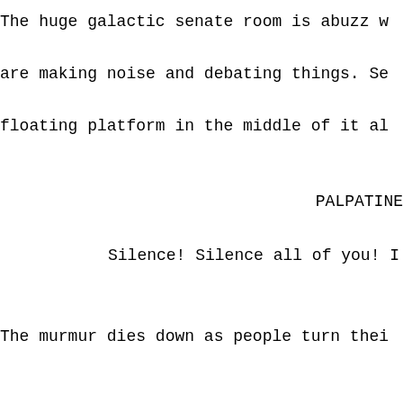The huge galactic senate room is abuzz w
are making noise and debating things. Se
floating platform in the middle of it al
PALPATINE
Silence! Silence all of you! I w
The murmur dies down as people turn thei